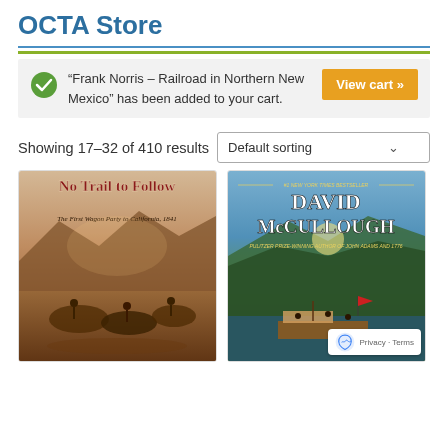OCTA Store
“Frank Norris – Railroad in Northern New Mexico” has been added to your cart.
View cart »
Showing 17–32 of 410 results
Default sorting
[Figure (photo): Book cover: No Trail to Follow – The First Wagon Party to California, 1841, showing a Western frontier scene with horsemen]
[Figure (photo): Book cover: David McCullough, #1 New York Times bestseller, Pulitzer Prize-winning author of John Adams and 1776, showing a river valley scene]